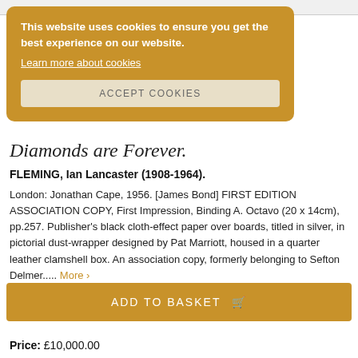This website uses cookies to ensure you get the best experience on our website. Learn more about cookies ACCEPT COOKIES
Diamonds are Forever.
FLEMING, Ian Lancaster (1908-1964).
London: Jonathan Cape, 1956. [James Bond] FIRST EDITION ASSOCIATION COPY, First Impression, Binding A. Octavo (20 x 14cm), pp.257. Publisher's black cloth-effect paper over boards, titled in silver, in pictorial dust-wrapper designed by Pat Marriott, housed in a quarter leather clamshell box. An association copy, formerly belonging to Sefton Delmer..... More >
ADD TO BASKET
Price: £10,000.00